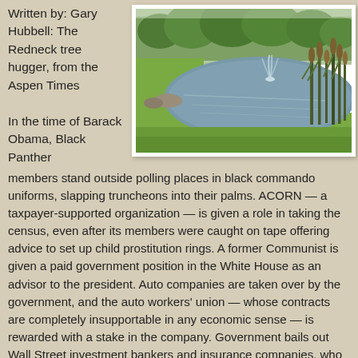Written by: Gary Hubbell: The Redneck tree hugger, from the Aspen Times
[Figure (photo): Outdoor photograph showing a pond or lake with grassy banks, tall reeds or cattails on the right, trees in the background, and a small fountain or water feature visible. Green grass surrounds the water.]
In the time of Barack Obama, Black Panther members stand outside polling places in black commando uniforms, slapping truncheons into their palms. ACORN — a taxpayer-supported organization — is given a role in taking the census, even after its members were caught on tape offering advice to set up child prostitution rings. A former Communist is given a paid government position in the White House as an advisor to the president. Auto companies are taken over by the government, and the auto workers' union — whose contracts are completely insupportable in any economic sense — is rewarded with a stake in the company. Government bails out Wall Street investment bankers and insurance companies, who pay their executives outrageous bonuses as thanks for the public support. Terrorists are read